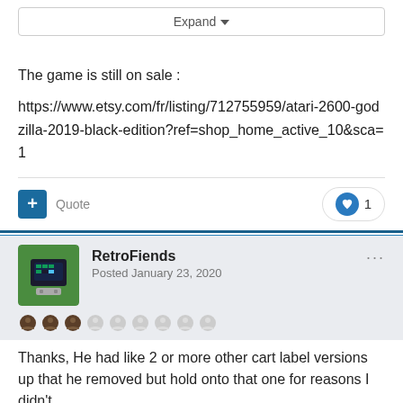Expand
The game is still on sale :
https://www.etsy.com/fr/listing/712755959/atari-2600-godzilla-2019-black-edition?ref=shop_home_active_10&sca=1
Quote
1
RetroFiends
Posted January 23, 2020
Thanks, He had like 2 or more other cart label versions up that he removed but hold onto that one for reasons I didn't
[Figure (illustration): User avatar for RetroFiends showing a pixelated game cartridge on green background]